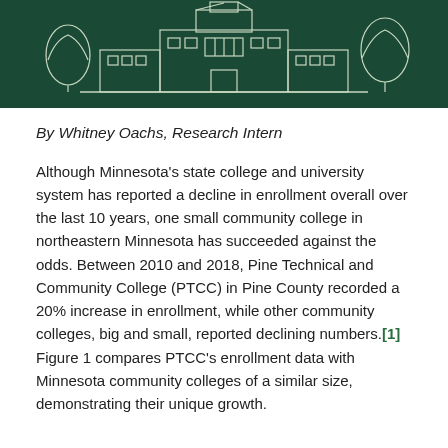[Figure (illustration): Dark green banner image showing a line drawing of a college building/campus with trees on a dark green background]
By Whitney Oachs, Research Intern
Although Minnesota's state college and university system has reported a decline in enrollment overall over the last 10 years, one small community college in northeastern Minnesota has succeeded against the odds. Between 2010 and 2018, Pine Technical and Community College (PTCC) in Pine County recorded a 20% increase in enrollment, while other community colleges, big and small, reported declining numbers.[1] Figure 1 compares PTCC's enrollment data with Minnesota community colleges of a similar size, demonstrating their unique growth.